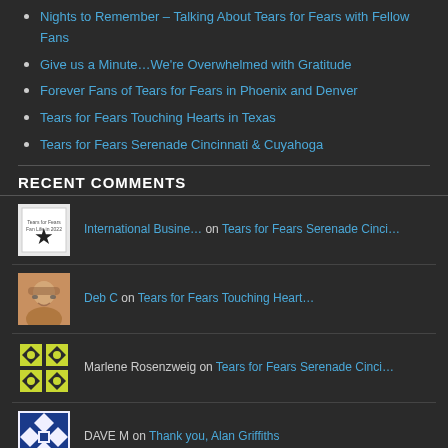Nights to Remember – Talking About Tears for Fears with Fellow Fans
Give us a Minute…We're Overwhelmed with Gratitude
Forever Fans of Tears for Fears in Phoenix and Denver
Tears for Fears Touching Hearts in Texas
Tears for Fears Serenade Cincinnati & Cuyahoga
RECENT COMMENTS
International Busine… on Tears for Fears Serenade Cinci…
Deb C on Tears for Fears Touching Heart…
Marlene Rosenzweig on Tears for Fears Serenade Cinci…
DAVE M on Thank you, Alan Griffiths
Trina Simon on Happy Birthday Curt!!